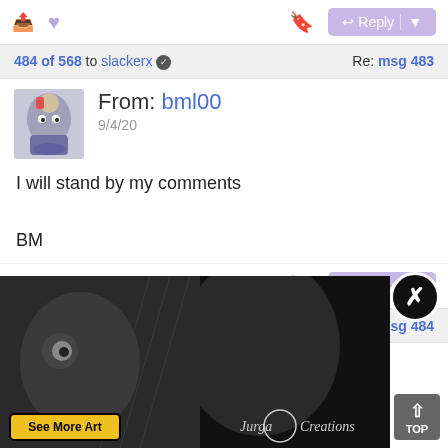Share / Heart / Bookmark / Reply — top action bar
484 of 568 to slackerx ✓   Re: msg 483
From: bml00
9/4/20
I will stand by my comments

BM
Share / Heart / Bookmark / Reply — bottom action bar
485 of 568 to bml00 ✓   Re: msg 484
From: slackerx
[Figure (photo): Advertisement banner showing owl and face illustration art, 'See More Art' button, Jurga Creations branding, with close (X) button and TOP scroll button]
See More Art
Jurga Creations